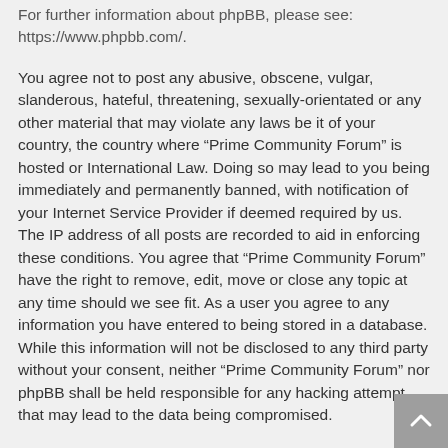For further information about phpBB, please see: https://www.phpbb.com/.
You agree not to post any abusive, obscene, vulgar, slanderous, hateful, threatening, sexually-orientated or any other material that may violate any laws be it of your country, the country where “Prime Community Forum” is hosted or International Law. Doing so may lead to you being immediately and permanently banned, with notification of your Internet Service Provider if deemed required by us. The IP address of all posts are recorded to aid in enforcing these conditions. You agree that “Prime Community Forum” have the right to remove, edit, move or close any topic at any time should we see fit. As a user you agree to any information you have entered to being stored in a database. While this information will not be disclosed to any third party without your consent, neither “Prime Community Forum” nor phpBB shall be held responsible for any hacking attempt that may lead to the data being compromised.